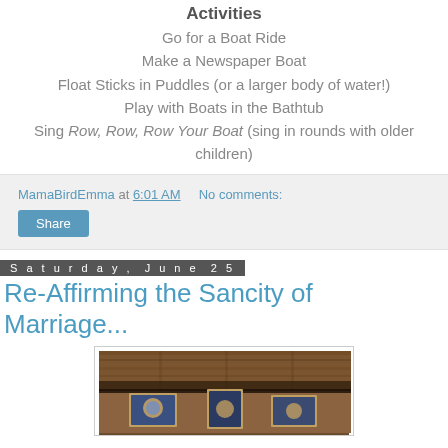Activities
Go for a Boat Ride
Make a Newspaper Boat
Float Sticks in Puddles (or a larger body of water!)
Play with Boats in the Bathtub
Sing Row, Row, Row Your Boat (sing in rounds with older children)
MamaBirdEmma at 6:01 AM    No comments:
Share
Saturday, June 25
Re-Affirming the Sancity of Marriage...
[Figure (photo): Interior of an Orthodox church showing wooden paneled walls with religious icons displayed, including framed icons at bottom]